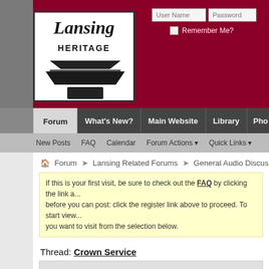[Figure (screenshot): Lansing Heritage forum website header with logo showing stylized speaker/audio equipment illustration, dark red/maroon background, login fields for User Name and Password, Remember Me checkbox]
Forum | What's New? | Main Website | Library | Pho...
New Posts  FAQ  Calendar  Forum Actions ▼  Quick Links ▼
Forum ➤ Lansing Related Forums ➤ General Audio Discussion...
If this is your first visit, be sure to check out the FAQ by clicking the link a... before you can post: click the register link above to proceed. To start view... you want to visit from the selection below.
Thread: Crown Service
07-15-2005, 09:23 PM